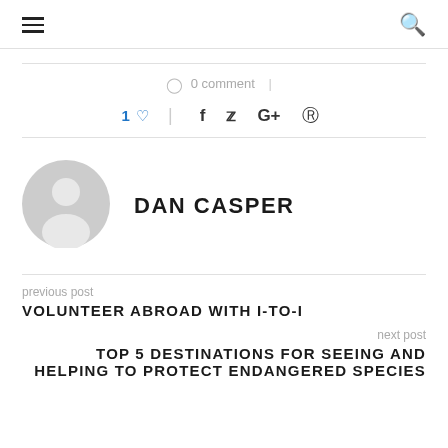≡  🔍
0 comment
1 ♡  |  f  🐦  G+   pinterest
[Figure (illustration): Gray circular avatar placeholder with silhouette of a person]
DAN CASPER
previous post
VOLUNTEER ABROAD WITH I-TO-I
next post
TOP 5 DESTINATIONS FOR SEEING AND HELPING TO PROTECT ENDANGERED SPECIES